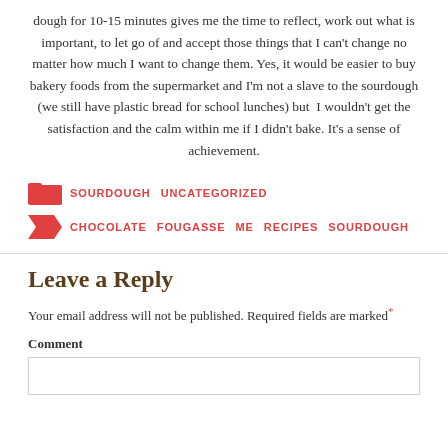dough for 10-15 minutes gives me the time to reflect, work out what is important, to let go of and accept those things that I can't change no matter how much I want to change them. Yes, it would be easier to buy bakery foods from the supermarket and I'm not a slave to the sourdough (we still have plastic bread for school lunches) but I wouldn't get the satisfaction and the calm within me if I didn't bake. It's a sense of achievement.
SOURDOUGH   UNCATEGORIZED
CHOCOLATE   FOUGASSE   ME   RECIPES   SOURDOUGH
Leave a Reply
Your email address will not be published. Required fields are marked*
Comment